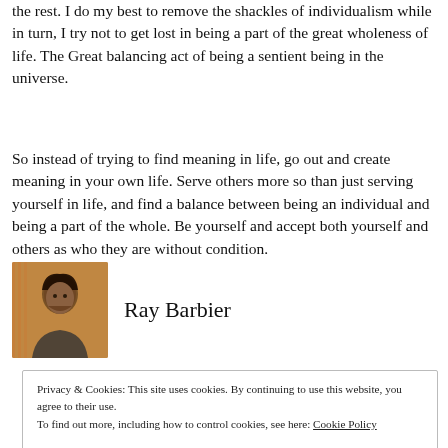the rest. I do my best to remove the shackles of individualism while in turn, I try not to get lost in being a part of the great wholeness of life. The Great balancing act of being a sentient being in the universe.
So instead of trying to find meaning in life, go out and create meaning in your own life. Serve others more so than just serving yourself in life, and find a balance between being an individual and being a part of the whole. Be yourself and accept both yourself and others as who they are without condition.
Ray Barbier
Privacy & Cookies: This site uses cookies. By continuing to use this website, you agree to their use. To find out more, including how to control cookies, see here: Cookie Policy
Close and accept